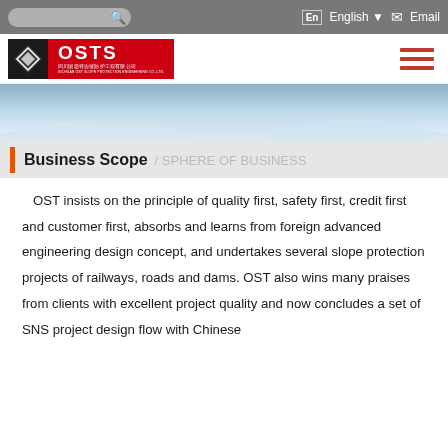En English ▾ Email
[Figure (logo): OSTS logo — black diamond icon with red block bearing white OSTS text and Chinese company name, hamburger menu icon in orange-red on right]
[Figure (photo): Hero banner with sky and landscape background]
Business Scope / SPHERE OF BUSINESS
OST insists on the principle of quality first, safety first, credit first and customer first, absorbs and learns from foreign advanced engineering design concept, and undertakes several slope protection projects of railways, roads and dams. OST also wins many praises from clients with excellent project quality and now concludes a set of SNS project design flow with Chinese